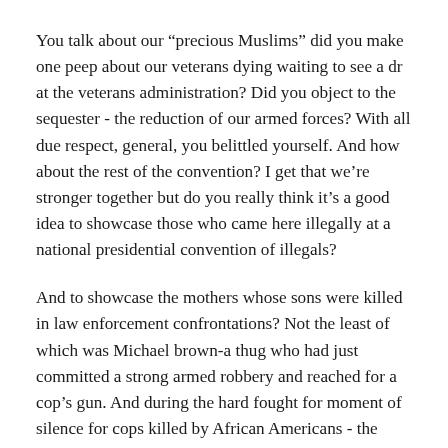You talk about our “precious Muslims” did you make one peep about our veterans dying waiting to see a dr at the veterans administration? Did you object to the sequester - the reduction of our armed forces? With all due respect, general, you belittled yourself. And how about the rest of the convention? I get that we’re stronger together but do you really think it’s a good idea to showcase those who came here illegally at a national presidential convention of illegals?
And to showcase the mothers whose sons were killed in law enforcement confrontations? Not the least of which was Michael brown-a thug who had just committed a strong armed robbery and reached for a cop’s gun. And during the hard fought for moment of silence for cops killed by African Americans - the chants of black lives matter that disrespected the silence.